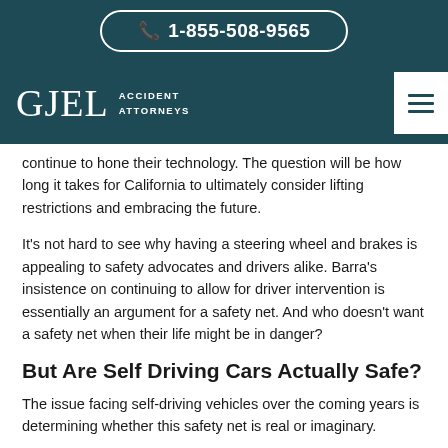📞 1-855-508-9565
[Figure (logo): GJEL Accident Attorneys logo with hamburger menu icon on dark teal background]
continue to hone their technology. The question will be how long it takes for California to ultimately consider lifting restrictions and embracing the future.
It's not hard to see why having a steering wheel and brakes is appealing to safety advocates and drivers alike. Barra's insistence on continuing to allow for driver intervention is essentially an argument for a safety net. And who doesn't want a safety net when their life might be in danger?
But Are Self Driving Cars Actually Safe?
The issue facing self-driving vehicles over the coming years is determining whether this safety net is real or imaginary.